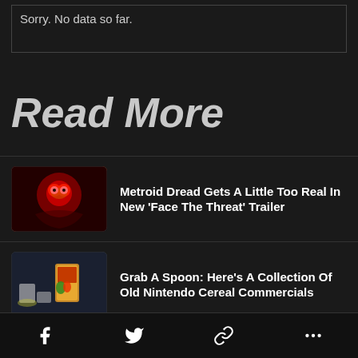Sorry. No data so far.
Read More
Metroid Dread Gets A Little Too Real In New 'Face The Threat' Trailer
Grab A Spoon: Here's A Collection Of Old Nintendo Cereal Commercials
Limited Run Games Show Off Physical Editions Of Zombies Ate My Neighbors
...inal
Share icons: Facebook, Twitter, Link, More